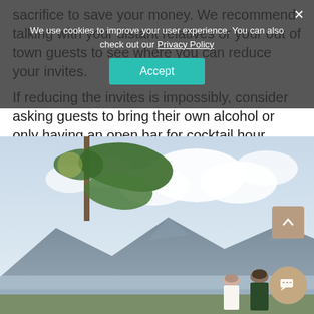sacrifice to save your money. We recommend talking with your distant relatives or your out of town guests to see where you can reduce your invites.
If reducing the invites is impossibly, consider asking guests to bring their own alcohol or only having an open bar for cocktail hour.
[Figure (photo): Outdoor wedding photo showing a couple from behind, overlooking a mountain and lake landscape with trees and cloudy sky.]